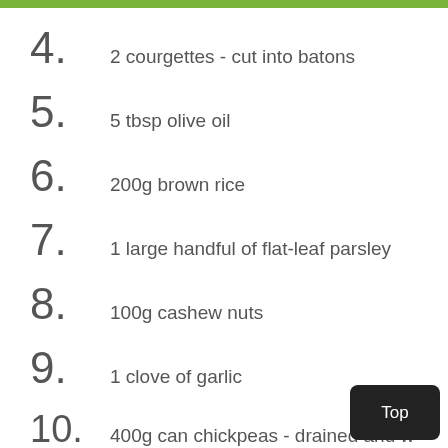4. 2 courgettes - cut into batons
5. 5 tbsp olive oil
6. 200g brown rice
7. 1 large handful of flat-leaf parsley
8. 100g cashew nuts
9. 1 clove of garlic
10. 400g can chickpeas - drained and w